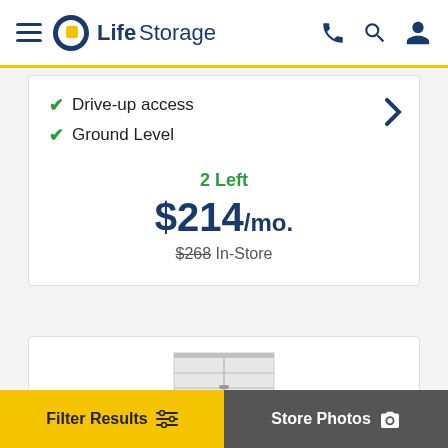LifeStorage
Drive-up access
Ground Level
2 Left
$214/mo.
$268 In-Store
[Figure (photo): Storage unit interior illustration]
Filter Results
Store Photos